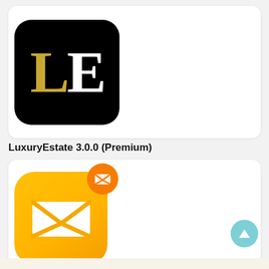[Figure (logo): LuxuryEstate app icon: black rounded square with gold 'L' and white 'E' serif letters]
LuxuryEstate 3.0.0 (Premium)
[Figure (logo): Messages app icon: yellow/gold rounded square with white envelope inside, orange notification badge with envelope icon on top right]
Messages 90.0